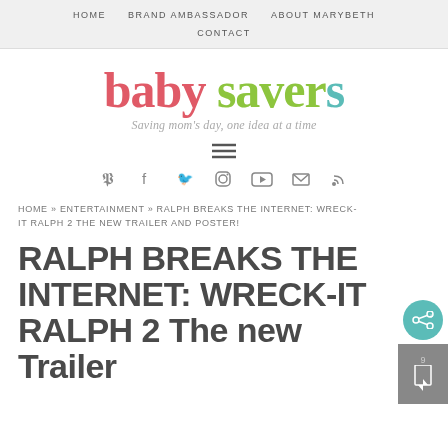HOME  BRAND AMBASSADOR  ABOUT MARYBETH  CONTACT
[Figure (logo): Baby Savers logo with tagline 'Saving mom's day, one idea at a time']
≡
[Figure (other): Social media icons: Pinterest, Facebook, Twitter, Instagram, YouTube, Email, RSS]
HOME » ENTERTAINMENT » RALPH BREAKS THE INTERNET: WRECK-IT RALPH 2 THE NEW TRAILER AND POSTER!
RALPH BREAKS THE INTERNET: WRECK-IT RALPH 2 The new Trailer